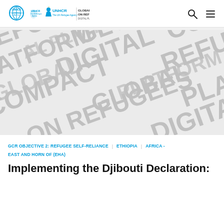UNHCR | GLOBAL COMPACT ON REFUGEES DIGITAL PLATFORM
[Figure (illustration): Background image with large grey text watermark repeating words REFUGEES, GLOBAL, COMPACT, PLATFORM, DIGITAL at various angles on a light grey background]
GCR OBJECTIVE 2: REFUGEE SELF-RELIANCE AND EAST HORN OF (EHA) | ETHIOPIA | AFRICA - EAST AND HORN OF (EHA)
Implementing the Djibouti Declaration: